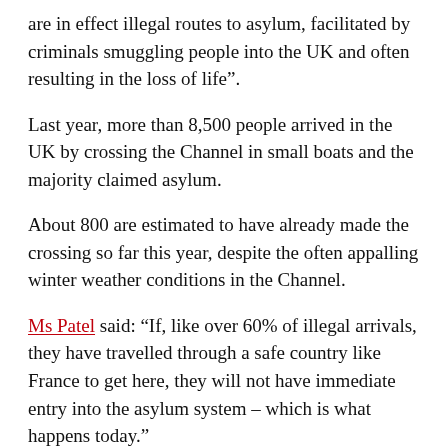are in effect illegal routes to asylum, facilitated by criminals smuggling people into the UK and often resulting in the loss of life”.
Last year, more than 8,500 people arrived in the UK by crossing the Channel in small boats and the majority claimed asylum.
About 800 are estimated to have already made the crossing so far this year, despite the often appalling winter weather conditions in the Channel.
Ms Patel said: “If, like over 60% of illegal arrivals, they have travelled through a safe country like France to get here, they will not have immediate entry into the asylum system – which is what happens today.”